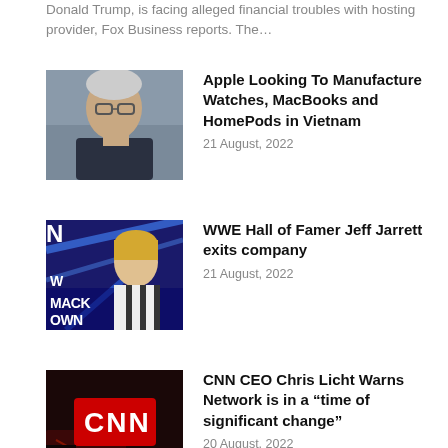Donald Trump, is facing alleged financial troubles with hosting provider, Fox Business reports. The…
[Figure (photo): Tim Cook at an event, wearing glasses and a dark sweater]
Apple Looking To Manufacture Watches, MacBooks and HomePods in Vietnam
21 August, 2022
[Figure (photo): Jeff Jarrett in a referee shirt at WWE SmackDown event]
WWE Hall of Famer Jeff Jarrett exits company
21 August, 2022
[Figure (photo): CNN logo on a large red screen at an event]
CNN CEO Chris Licht Warns Network is in a “time of significant change”
20 August, 2022
[Figure (photo): Brian Stelter at a CNN event with CNN logo backdrop]
CNN Cancels ‘Reliable Source’; Host Brian Stelter leaving network